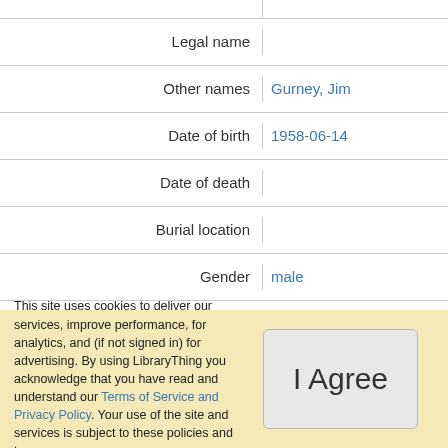| Field | Value |
| --- | --- |
| Legal name |  |
| Other names | Gurney, Jim |
| Date of birth | 1958-06-14 |
| Date of death |  |
| Burial location |  |
| Gender | male |
| Nationality | USA |
This site uses cookies to deliver our services, improve performance, for analytics, and (if not signed in) for advertising. By using LibraryThing you acknowledge that you have read and understand our Terms of Service and Privacy Policy. Your use of the site and services is subject to these policies and terms.
I Agree